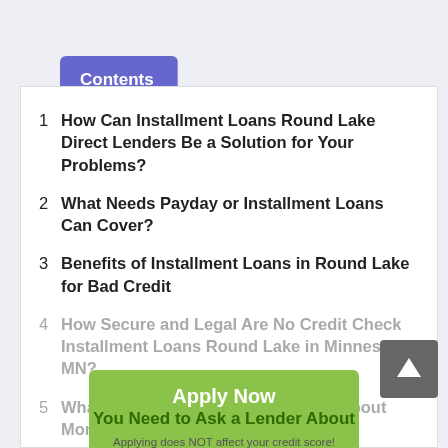Contents (tap to hide) ^
1  How Can Installment Loans Round Lake Direct Lenders Be a Solution for Your Problems?
2  What Needs Payday or Installment Loans Can Cover?
3  Benefits of Installment Loans in Round Lake for Bad Credit
4  How Secure and Legal Are No Credit Check Installment Loans Round Lake in Minnesota MN?
5  What Do You Need to Ask a Lender About Monthly Payments and Fees
6  What Do You Need to Remember Applying for
Apply Now
You Need to Ask a Lender About
Applying does NOT affect your credit score!
No credit check to apply.